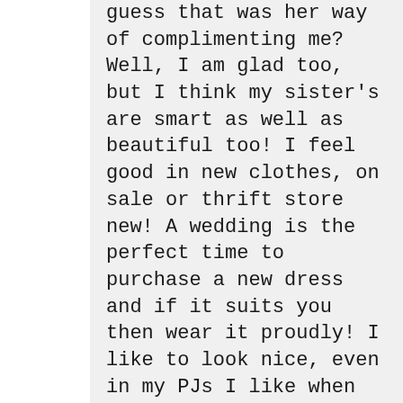guess that was her way of complimenting me? Well, I am glad too, but I think my sister's are smart as well as beautiful too! I feel good in new clothes, on sale or thrift store new! A wedding is the perfect time to purchase a new dress and if it suits you then wear it proudly! I like to look nice, even in my PJs I like when they match, mostly they do not. But I can find matching PJs at Walmart! I just started